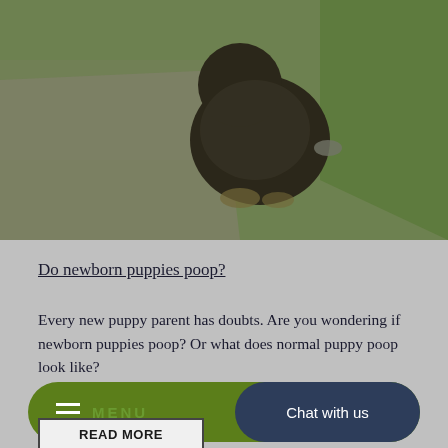[Figure (photo): A dark fluffy dog squatting on green grass near a paved path, photographed from behind]
Do newborn puppies poop?
Every new puppy parent has doubts. Are you wondering if newborn puppies poop? Or what does normal puppy poop look like?
READ MORE